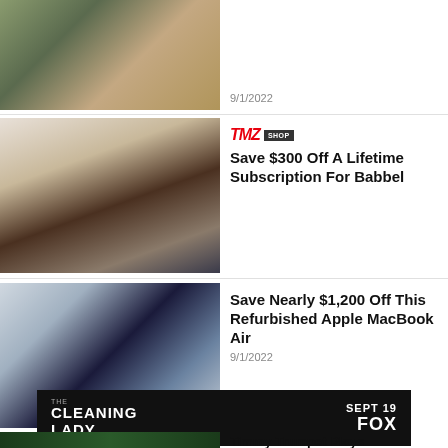[Figure (photo): Person in striped jersey, partially visible at top]
9/1/2022
[Figure (photo): Person holding smartphone next to coffee cup with latte art]
TMZ SHOP
Save $300 Off A Lifetime Subscription For Babbel
[Figure (photo): Apple MacBook Air laptop open showing galaxy wallpaper]
Save Nearly $1,200 Off This Refurbished Apple MacBook Air
9/1/2022
[Figure (photo): The Cleaning Lady advertisement banner — SEPT 19 FOX]
[Figure (photo): Stadium image, partially visible]
Timmy Trumpet Plays